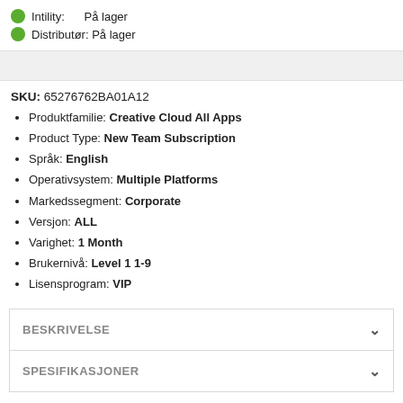Intility: På lager
Distributør: På lager
SKU: 65276762BA01A12
Produktfamilie: Creative Cloud All Apps
Product Type: New Team Subscription
Språk: English
Operativsystem: Multiple Platforms
Markedssegment: Corporate
Versjon: ALL
Varighet: 1 Month
Brukernivå: Level 1 1-9
Lisensprogram: VIP
BESKRIVELSE
SPESIFIKASJONER